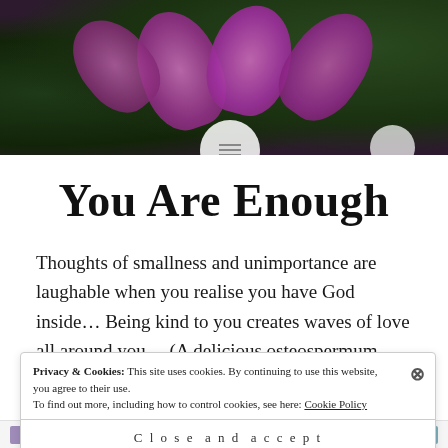[Figure (photo): Purple/pink flower petals (osteospermum daisy) against green foliage background, top banner photo]
You Are Enough
Thoughts of smallness and unimportance are laughable when you realise you have God inside… Being kind to you creates waves of love all around you… (A delicious osteospermum daisy catching the light in my garden 🌸🌸) Words & Photo
Privacy & Cookies: This site uses cookies. By continuing to use this website, you agree to their use.
To find out more, including how to control cookies, see here: Cookie Policy
Close and accept